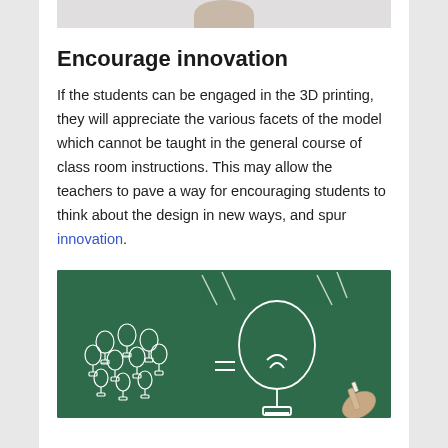[Figure (photo): Top of a person's head, partially cropped, appearing at the top of the page]
Encourage innovation
If the students can be engaged in the 3D printing, they will appreciate the various facets of the model which cannot be taught in the general course of class room instructions. This may allow the teachers to pave a way for encouraging students to think about the design in new ways, and spur innovation.
[Figure (photo): Chalkboard with chalk drawings of multiple light bulbs on the left and one large light bulb on the right, with a hand holding chalk]